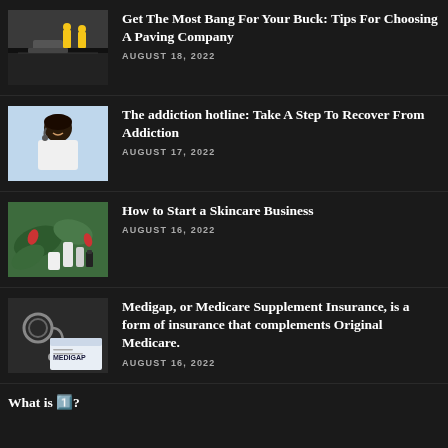[Figure (photo): Workers paving a road with asphalt, wearing yellow safety vests]
Get The Most Bang For Your Buck: Tips For Choosing A Paving Company
AUGUST 18, 2022
[Figure (photo): Woman wearing a headset/microphone smiling, in a call center setting]
The addiction hotline: Take A Step To Recover From Addiction
AUGUST 17, 2022
[Figure (photo): Skincare products arranged with green leaves on a white surface]
How to Start a Skincare Business
AUGUST 16, 2022
[Figure (photo): Medigap document with stethoscope on dark background]
Medigap, or Medicare Supplement Insurance, is a form of insurance that complements Original Medicare.
AUGUST 16, 2022
What is 1️⃣?